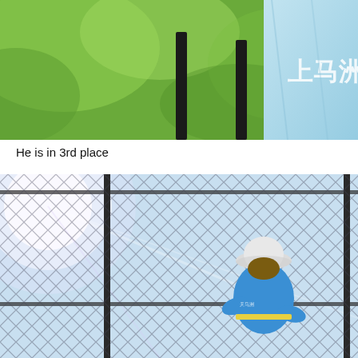[Figure (photo): Close-up photo showing a person wearing a light blue garment with Chinese characters, standing near dark fence posts with green blurred foliage in the background.]
He is in 3rd place
[Figure (photo): Photo of a person wearing a white bucket hat and blue athletic shirt, standing behind a chain-link fence on what appears to be a sports court, with bright sunlight visible in the upper left.]